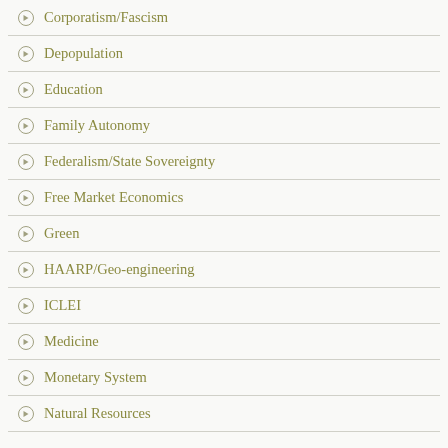Corporatism/Fascism
Depopulation
Education
Family Autonomy
Federalism/State Sovereignty
Free Market Economics
Green
HAARP/Geo-engineering
ICLEI
Medicine
Monetary System
Natural Resources